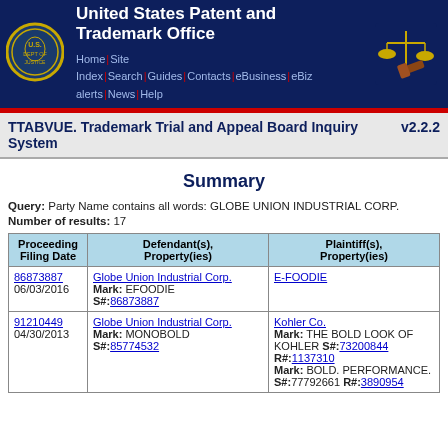United States Patent and Trademark Office — Home | Site Index | Search | Guides | Contacts | eBusiness | eBiz alerts | News | Help
TTABVUE. Trademark Trial and Appeal Board Inquiry System v2.2.2
Summary
Query: Party Name contains all words: GLOBE UNION INDUSTRIAL CORP.
Number of results: 17
| Proceeding Filing Date | Defendant(s), Property(ies) | Plaintiff(s), Property(ies) |
| --- | --- | --- |
| 86873887
06/03/2016 | Globe Union Industrial Corp.
Mark: EFOODIE
S#:86873887 | E-FOODIE |
| 91210449
04/30/2013 | Globe Union Industrial Corp.
Mark: MONOBOLD
S#:85774532 | Kohler Co.
Mark: THE BOLD LOOK OF KOHLER S#:73200844
R#:1137310
Mark: BOLD. PERFORMANCE.
S#:77792661 R#:3890954 |